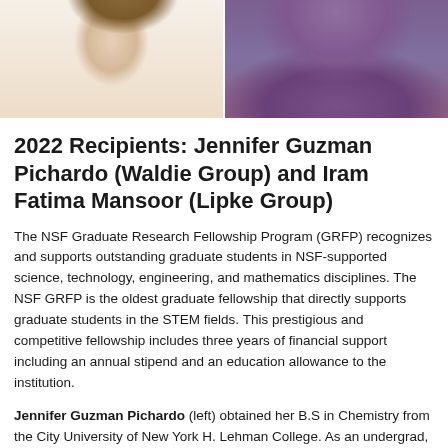[Figure (photo): Two photos side by side: left photo shows a woman with long brown hair wearing a white top, right photo shows a woman wearing a purple hijab]
2022 Recipients: Jennifer Guzman Pichardo (Waldie Group) and Iram Fatima Mansoor (Lipke Group)
The NSF Graduate Research Fellowship Program (GRFP) recognizes and supports outstanding graduate students in NSF-supported science, technology, engineering, and mathematics disciplines. The NSF GRFP is the oldest graduate fellowship that directly supports graduate students in the STEM fields. This prestigious and competitive fellowship includes three years of financial support including an annual stipend and an education allowance to the institution.
Jennifer Guzman Pichardo (left) obtained her B.S in Chemistry from the City University of New York H. Lehman College. As an undergrad, she worked with Dr. Andrei